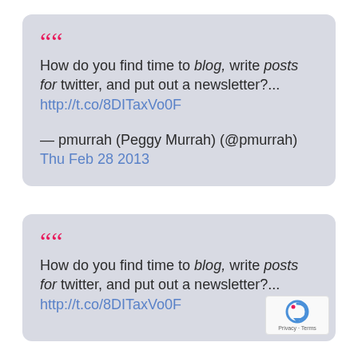““ How do you find time to blog, write posts for twitter, and put out a newsletter?... http://t.co/8DITaxVo0F — pmurrah (Peggy Murrah) (@pmurrah) Thu Feb 28 2013
““ How do you find time to blog, write posts for twitter, and put out a newsletter?... http://t.co/8DITaxVo0F